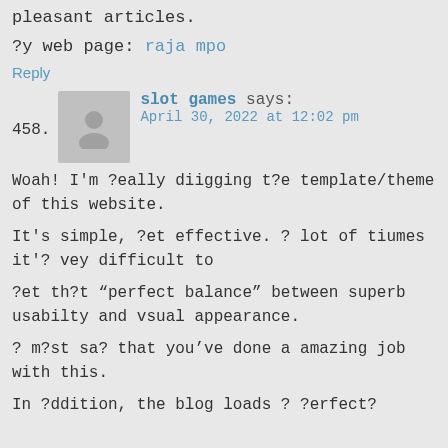pleasant articles.
?y web page: raja mpo
Reply
458. slot games says:
April 30, 2022 at 12:02 pm
Woah! I'm ?eally diigging t?e template/theme of this website.
It's simple, ?et effective. ? lot of tiumes it'? vey difficult to
?et th?t “perfect balance” between superb usabilty and vsual appearance.
? m?st sa? that you’ve done a amazing job with this.
In ?ddition, the blog loads ? ?erfect?